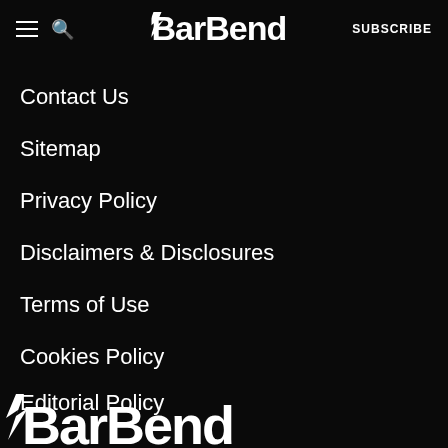BarBend — SUBSCRIBE
Contact Us
Sitemap
Privacy Policy
Disclaimers & Disclosures
Terms of Use
Cookies Policy
Editorial Policy
[Figure (logo): BarBend logo at bottom of page, large white text on black background]